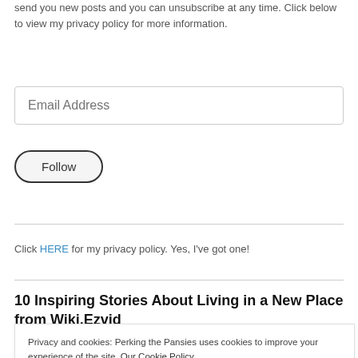send you new posts and you can unsubscribe at any time. Click below to view my privacy policy for more information.
Email Address
Follow
Click HERE for my privacy policy. Yes, I've got one!
10 Inspiring Stories About Living in a New Place from Wiki.Ezvid
Privacy and cookies: Perking the Pansies uses cookies to improve your experience of the site. Our Cookie Policy
Fine by me